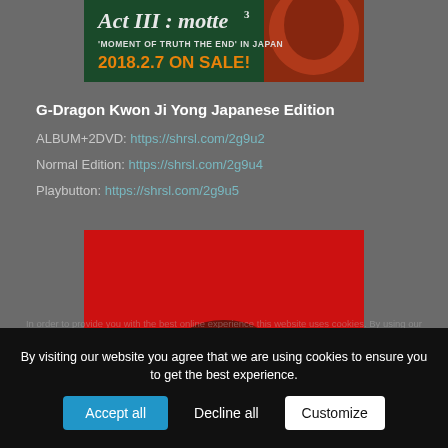[Figure (illustration): Banner image for G-Dragon Act III Motte concert album. Dark green background with stylized text 'Act III: Motte' in gothic lettering, subtitle 'MOMENT OF TRUTH THE END IN JAPAN', and '2018.2.7 ON SALE!' in orange. A partial face in red/orange tones on the right side.]
G-Dragon Kwon Ji Yong Japanese Edition
ALBUM+2DVD: https://shrsl.com/2g9u2
Normal Edition: https://shrsl.com/2g9u4
Playbutton: https://shrsl.com/2g9u5
[Figure (photo): Album cover or product image with bright red background and dark album case/box visible at the bottom portion.]
In order to provide you with the best online experience this website uses cookies. By using our website, you agree to our use of cookies.
By visiting our website you agree that we are using cookies to ensure you to get the best experience.